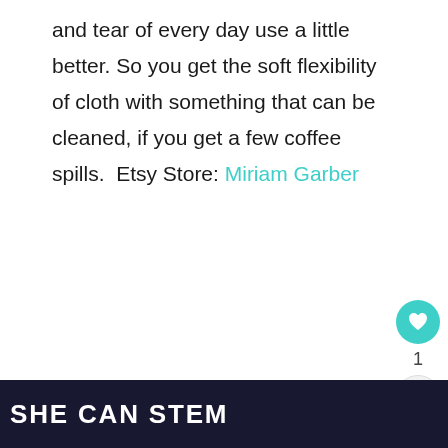and tear of every day use a little better. So you get the soft flexibility of cloth with something that can be cleaned, if you get a few coffee spills.  Etsy Store: Miriam Garber
[Figure (screenshot): Social interaction buttons: a teal heart/like button, a count of 1, and a share button (circular arrow icon)]
[Figure (screenshot): What's Next panel showing a thumbnail and 'Holiday Canning...' text with a teal label]
[Figure (photo): Circular cropped photo showing wooden surface with some objects on it, partially visible]
[Figure (logo): Dark navy banner at bottom with white bold text reading 'SHE CAN STEM' and a small logo on the right]